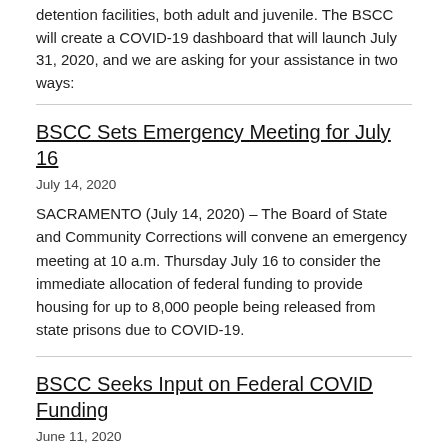detention facilities, both adult and juvenile. The BSCC will create a COVID-19 dashboard that will launch July 31, 2020, and we are asking for your assistance in two ways:
BSCC Sets Emergency Meeting for July 16
July 14, 2020
SACRAMENTO (July 14, 2020) – The Board of State and Community Corrections will convene an emergency meeting at 10 a.m. Thursday July 16 to consider the immediate allocation of federal funding to provide housing for up to 8,000 people being released from state prisons due to COVID-19.
BSCC Seeks Input on Federal COVID Funding
June 11, 2020
The Board of State and Community Corrections sought and was awarded $58.5 million in federal funds to help ease the financial impacts of COVID-19 emergency spending on the criminal justice system. The BSCC now seeks public input on how